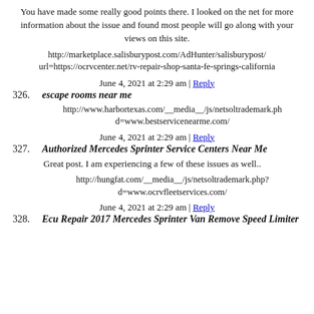You have made some really good points there. I looked on the net for more information about the issue and found most people will go along with your views on this site.
http://marketplace.salisburypost.com/AdHunter/salisburypost/ url=https://ocrvcenter.net/rv-repair-shop-santa-fe-springs-california
June 4, 2021 at 2:29 am | Reply
326. escape rooms near me
http://www.harbortexas.com/__media__/js/netsoltrademark.php d=www.bestservicenearme.com/
June 4, 2021 at 2:29 am | Reply
327. Authorized Mercedes Sprinter Service Centers Near Me
Great post. I am experiencing a few of these issues as well..
http://hungfat.com/__media__/js/netsoltrademark.php?d=www.ocrvfleetservices.com/
June 4, 2021 at 2:29 am | Reply
328. Ecu Repair 2017 Mercedes Sprinter Van Remove Speed Limiter